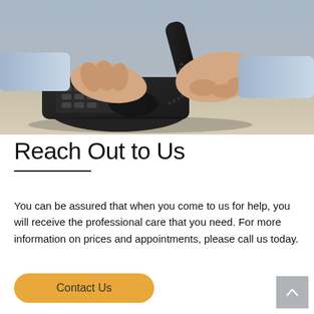[Figure (photo): Close-up photo of a person in a blue shirt holding a telephone handset with one hand while pressing buttons on a desk phone with the other hand. The phone is black and sits on a light wood-colored desk surface.]
Reach Out to Us
You can be assured that when you come to us for help, you will receive the professional care that you need. For more information on prices and appointments, please call us today.
Contact Us